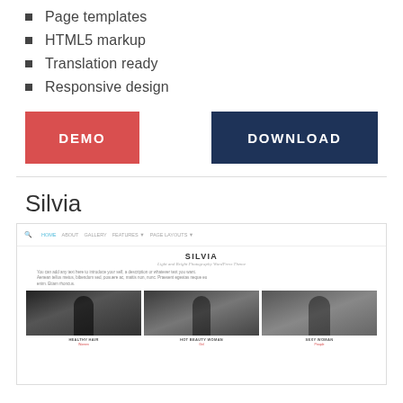Page templates
HTML5 markup
Translation ready
Responsive design
DEMO   DOWNLOAD
Silvia
[Figure (screenshot): Screenshot of the Silvia WordPress theme showing a navigation bar, the title SILVIA with subtitle 'Light and Bright Photography WordPress Theme', introductory body text, and a three-column photo grid showing black and white photos labeled HEALTHY HAIR, HOT BEAUTY WOMAN, and SEXY WOMAN.]